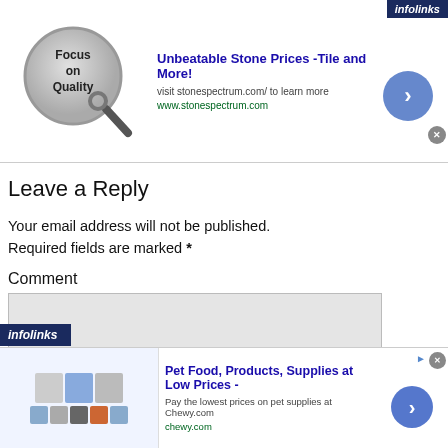[Figure (screenshot): Top advertisement banner: Focus on Quality logo with magnifying glass, title 'Unbeatable Stone Prices -Tile and More!', subtitle 'visit stonespectrum.com/ to learn more', URL 'www.stonespectrum.com', blue arrow button, infolinks badge, and close X button]
Leave a Reply
Your email address will not be published. Required fields are marked *
Comment
[Figure (screenshot): Comment text area input box (light gray, empty)]
[Figure (screenshot): Bottom advertisement banner: Chewy.com pet supplies ad with product images, title 'Pet Food, Products, Supplies at Low Prices -', subtitle 'Pay the lowest prices on pet supplies at Chewy.com', URL 'chewy.com', infolinks badge, arrow button, close X button, and info icon]